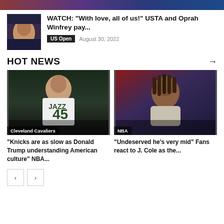[Figure (photo): Cropped top strip of a photo, partially visible at top of page]
[Figure (photo): Photo of Oprah Winfrey smiling, at what appears to be a sports event]
WATCH: “With love, all of us!” USTA and Oprah Winfrey pay...
US Open  August 30, 2022
HOT NEWS
[Figure (photo): Basketball player wearing Utah Jazz #45 jersey, Cleveland Cavaliers tag]
“Knicks are as slow as Donald Trump understanding American culture” NBA...
[Figure (photo): Man with dreadlocks sitting in arena crowd, NBA tag]
“Undeserved he’s very mid” Fans react to J. Cole as the...